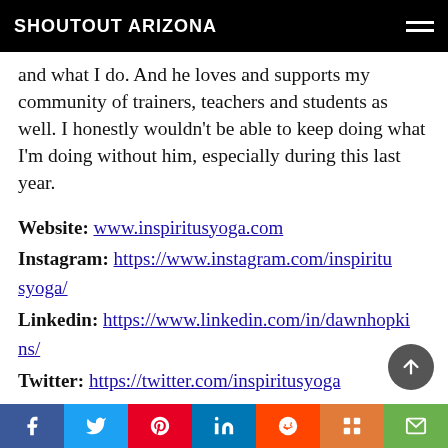SHOUTOUT ARIZONA
and what I do. And he loves and supports my community of trainers, teachers and students as well. I honestly wouldn't be able to keep doing what I'm doing without him, especially during this last year.
Website: www.inspiritusyoga.com
Instagram: https://www.instagram.com/inspiritusyoga/
Linkedin: https://www.linkedin.com/in/dawnhopkins/
Twitter: https://twitter.com/inspiritusyoga
Facebook: https://www.facebook.com/InspiritusY
Social share bar: Facebook, Twitter, Pinterest, LinkedIn, Reddit, Mix, Email